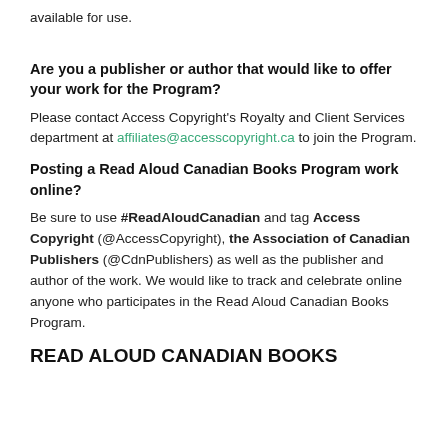available for use.
Are you a publisher or author that would like to offer your work for the Program?
Please contact Access Copyright's Royalty and Client Services department at affiliates@accesscopyright.ca to join the Program.
Posting a Read Aloud Canadian Books Program work online?
Be sure to use #ReadAloudCanadian and tag Access Copyright (@AccessCopyright), the Association of Canadian Publishers (@CdnPublishers) as well as the publisher and author of the work. We would like to track and celebrate online anyone who participates in the Read Aloud Canadian Books Program.
READ ALOUD CANADIAN BOOKS